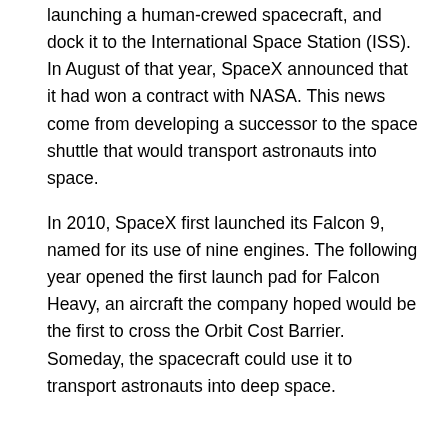launching a human-crewed spacecraft, and dock it to the International Space Station (ISS). In August of that year, SpaceX announced that it had won a contract with NASA. This news come from developing a successor to the space shuttle that would transport astronauts into space.
In 2010, SpaceX first launched its Falcon 9, named for its use of nine engines. The following year opened the first launch pad for Falcon Heavy, an aircraft the company hoped would be the first to cross the Orbit Cost Barrier. Someday, the spacecraft could use it to transport astronauts into deep space.